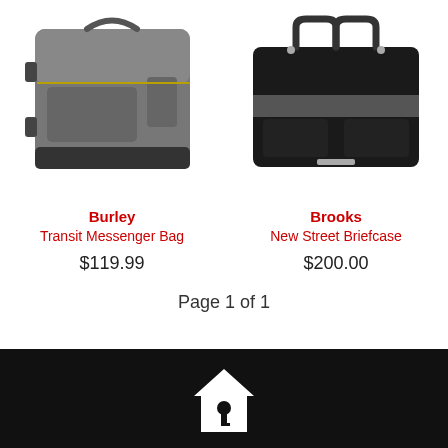[Figure (photo): Photo of Burley Transit Messenger Bag — a grey and black messenger/backpack style bag]
[Figure (photo): Photo of Brooks New Street Briefcase — a black briefcase bag with handles]
Burley
Transit Messenger Bag
$119.99
Brooks
New Street Briefcase
$200.00
Page 1 of 1
[Figure (logo): White house/key icon on black background footer]